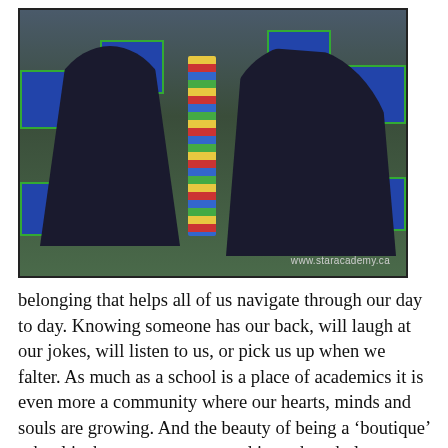[Figure (photo): Two children in dark clothing kneeling on a colorful green and blue square-patterned carpet, building a tall tower of colorful wooden blocks. A watermark reads www.staracademy.ca at the bottom right of the photo.]
belonging that helps all of us navigate through our day to day. Knowing someone has our back, will laugh at our jokes, will listen to us, or pick us up when we falter. As much as a school is a place of academics it is even more a community where our hearts, minds and souls are growing. And the beauty of being a 'boutique' school is that we are very tuned in to the whole development of each child. So when I read a recent article in The